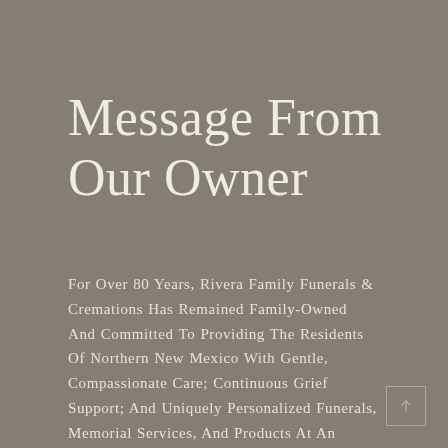Message From Our Owner
For Over 80 Years, Rivera Family Funerals & Cremations Has Remained Family-Owned And Committed To Providing The Residents Of Northern New Mexico With Gentle, Compassionate Care; Continuous Grief Support; And Uniquely Personalized Funerals, Memorial Services, And Products At An Outstanding Value.